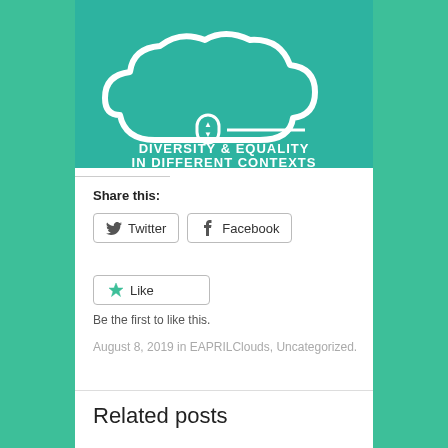[Figure (illustration): Teal background with white cloud outline icon, a circular indicator with up/down arrows, a horizontal line, and text reading DIVERSITY & EQUALITY IN DIFFERENT CONTEXTS]
Share this:
Twitter   Facebook
Like
Be the first to like this.
August 8, 2019 in EAPRILClouds, Uncategorized.
Related posts